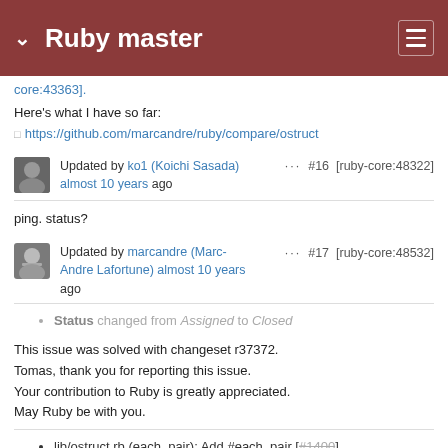Ruby master
core:43363].
Here's what I have so far:
https://github.com/marcandre/ruby/compare/ostruct
Updated by ko1 (Koichi Sasada) almost 10 years ago  ···  #16  [ruby-core:48322]
ping. status?
Updated by marcandre (Marc-Andre Lafortune) almost 10 years ago  ···  #17  [ruby-core:48532]
Status changed from Assigned to Closed
This issue was solved with changeset r37372.
Tomas, thank you for reporting this issue.
Your contribution to Ruby is greatly appreciated.
May Ruby be with you.
lib/ostruct.rb (each_pair): Add #each_pair [#1400]